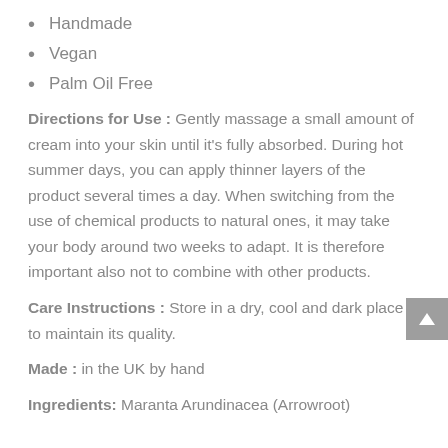Handmade
Vegan
Palm Oil Free
Directions for Use : Gently massage a small amount of cream into your skin until it's fully absorbed. During hot summer days, you can apply thinner layers of the product several times a day. When switching from the use of chemical products to natural ones, it may take your body around two weeks to adapt. It is therefore important also not to combine with other products.
Care Instructions : Store in a dry, cool and dark place to maintain its quality.
Made : in the UK by hand
Ingredients: Maranta Arundinacea (Arrowroot)